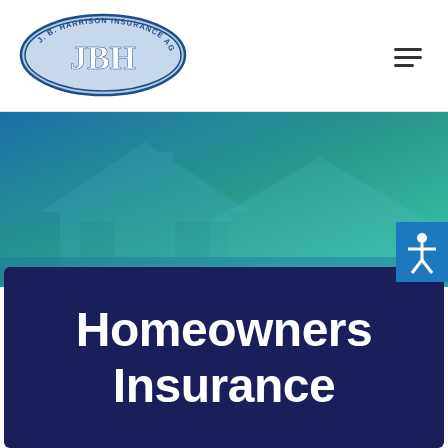J.B. Harrison Insurance Agency (JBH logo) — navigation header
[Figure (photo): Teal and blue gradient hero banner with faded house silhouette in background]
[Figure (illustration): Blue accessibility icon button showing a human figure with arms outstretched]
Homeowners Insurance